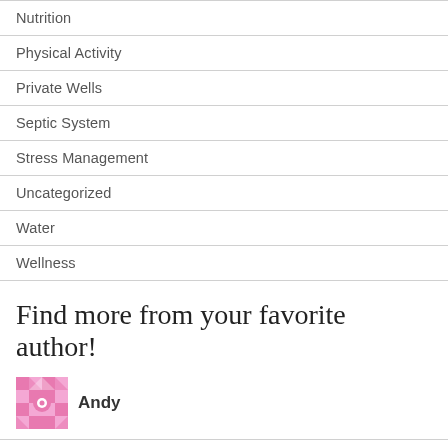Nutrition
Physical Activity
Private Wells
Septic System
Stress Management
Uncategorized
Water
Wellness
Find more from your favorite author!
[Figure (illustration): Pink decorative snowflake/mandala avatar icon for author Andy]
Andy
Spring Drinking Water Tune-Up
What Are the Pros and Cons of Fluoride in Drinking Water?